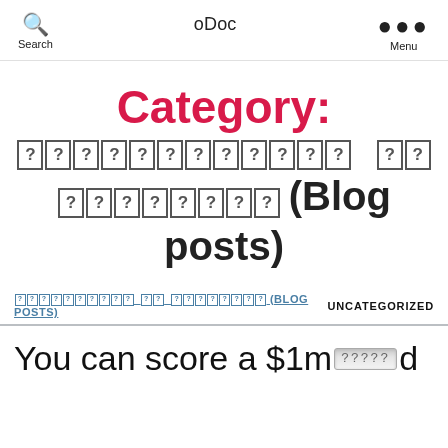Search | oDoc | Menu
Category: ???????????? ?? ???????? (Blog posts)
???????????? ?? ???????? (BLOG POSTS)   UNCATEGORIZED
You can score a $1m[odometer]d